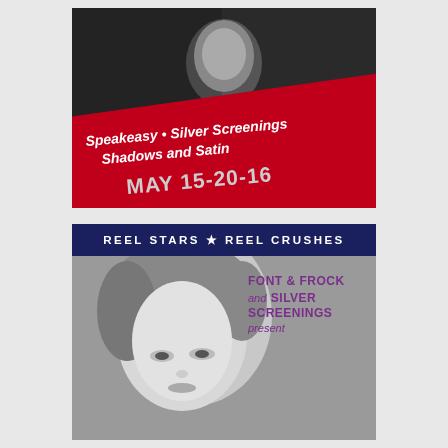[Figure (illustration): Black and white photo of a man in suit and tie, with a large diagonal red banner overlaid showing event text. Banner reads: Speakeasy • Silver Screenings Shadows and Satin, MAY 15-20-16]
[Figure (illustration): Composite image with dark navy banner at top reading REEL STARS ★ REEL CRUSHES, below which is a black and white close-up photo of a glamorous woman. Overlaid purple text reads: FONT & FROCK and SILVER SCREENINGS present]